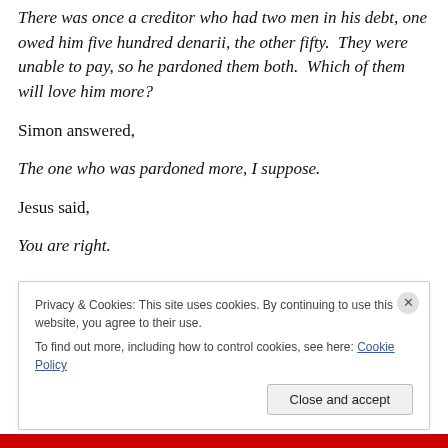There was once a creditor who had two men in his debt, one owed him five hundred denarii, the other fifty. They were unable to pay, so he pardoned them both. Which of them will love him more?
Simon answered,
The one who was pardoned more, I suppose.
Jesus said,
You are right.
Privacy & Cookies: This site uses cookies. By continuing to use this website, you agree to their use.
To find out more, including how to control cookies, see here: Cookie Policy